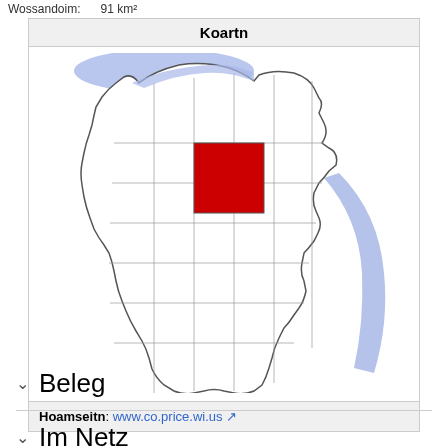Wossandoim:  91 km²
| Koartn |
| --- |
| [map of Wisconsin with Price County highlighted in red] |
| Hoamseitn: www.co.price.wi.us |
[Figure (map): Map of Wisconsin showing county boundaries, with Price County highlighted in red in the north-central region. Lakes and water bodies shown in blue.]
Beleg
Im Netz